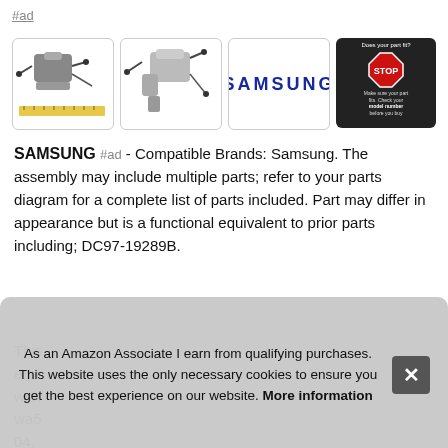#ad
[Figure (photo): Product image gallery: two photos of a Samsung washer valve/pump assembly, a Samsung brand logo box, and a 'Does your part fit? STOP - Check your model number before you buy' advisory image]
SAMSUNG #ad - Compatible Brands: Samsung. The assembly may include multiple parts; refer to your parts diagram for a complete list of parts included. Part may differ in appearance but is a functional equivalent to prior parts including; DC97-19289B.
This [partially obscured] equ[ivalent] with wa5[her] 04, [obscured]
As an Amazon Associate I earn from qualifying purchases. This website uses the only necessary cookies to ensure you get the best experience on our website. More information